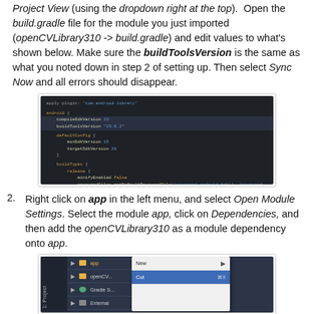Project View (using the dropdown right at the top). Open the build.gradle file for the module you just imported (openCVLibrary310 -> build.gradle) and edit values to what's shown below. Make sure the buildToolsVersion is the same as what you noted down in step 2 of setting up. Then select Sync Now and all errors should disappear.
[Figure (screenshot): Dark-themed code editor screenshot showing build.gradle configuration with compileSdkVersion, buildToolsVersion, defaultConfig, and buildTypes sections]
2. Right click on app in the left menu, and select Open Module Settings. Select the module app, click on Dependencies, and then add the openCVLibrary310 as a module dependency onto app.
[Figure (screenshot): Android Studio left panel showing app, openCV, Gradle Scripts, External items with a right-click context menu showing New, Cut options]